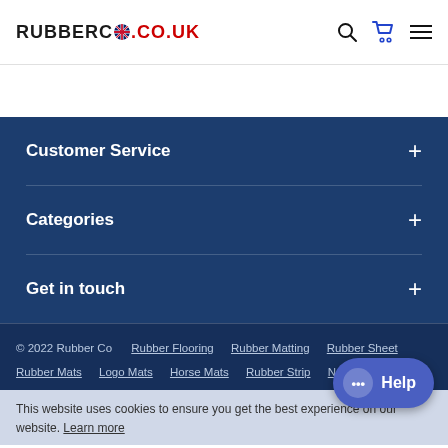RUBBERCO.CO.UK
Customer Service +
Categories +
Get in touch +
© 2022 Rubber Co   Rubber Flooring   Rubber Matting   Rubber Sheet   Rubber Mats   Logo Mats   Horse Mats   Rubber Strip   Non Slip Floor Matting   Rubber Anti Fatigue Matting   Self Adhesive Rubber   Sand Detailing
This website uses cookies to ensure you get the best experience on our website. Learn more